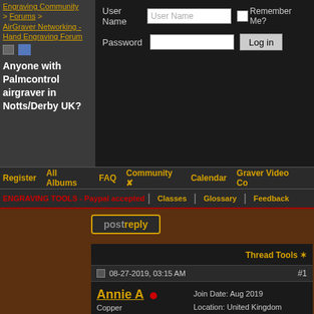Engraving Community > Forums > AirGraver Networking - Hand Engraving Forum
Anyone with Palmcontrol airgraver in Notts/Derby UK?
User Name | Password | Remember Me? | Log in
Register | All Albums | FAQ | Community | Calendar | Graver Video Co
ENGRAVING TOOLS - Paypal accepted | Classes | Glossary | Feedback
postreply
Thread Tools
08-27-2019, 03:15 AM #1
Annie A - Copper
Join Date: Aug 2019
Location: United Kingdom
Posts: 8
Anyone with Palmcontrol airgraver in Notts/Derby UK?
Hi everyone. I'm new here and looking to buy the palmcontrol airgraver. I've not used one before and